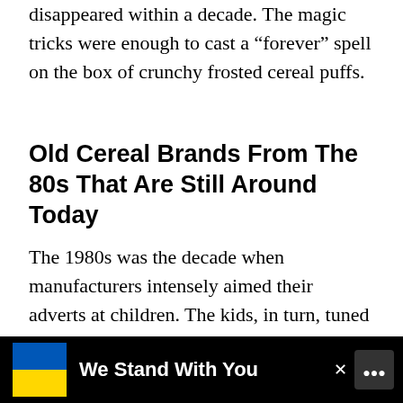disappeared within a decade. The magic tricks were enough to cast a “forever” spell on the box of crunchy frosted cereal puffs.
Old Cereal Brands From The 80s That Are Still Around Today
The 1980s was the decade when manufacturers intensely aimed their adverts at children. The kids, in turn, tuned up their pester power till their parents purchased that thrill (cereal) of the week. My folks were one of those parents that just had to give in to the demands of their whining children.
[Figure (infographic): Advertisement banner at the bottom showing a blue and yellow flag (Ukraine colors), the text 'We Stand With You', a close button (x), and a small broadcaster logo on a black background.]